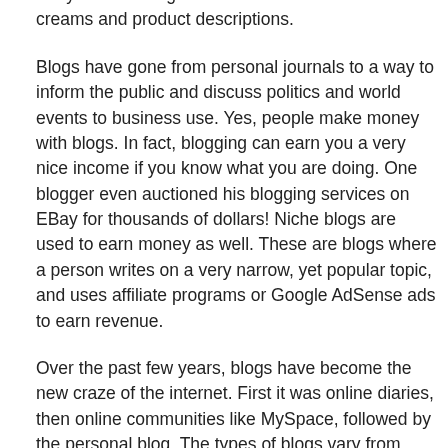to try to sift through an entire store of skin care creams and product descriptions.
Blogs have gone from personal journals to a way to inform the public and discuss politics and world events to business use. Yes, people make money with blogs. In fact, blogging can earn you a very nice income if you know what you are doing. One blogger even auctioned his blogging services on EBay for thousands of dollars! Niche blogs are used to earn money as well. These are blogs where a person writes on a very narrow, yet popular topic, and uses affiliate programs or Google AdSense ads to earn revenue.
Over the past few years, blogs have become the new craze of the internet. First it was online diaries, then online communities like MySpace, followed by the personal blog. The types of blogs vary from personal to business to narrative. Some blogs are so popular that they have Google PageRanks of 6 and above (on a scale of 10), and get hundreds, if not thousands of hits a day. When this happens, it becomes easy to make money with blogs.